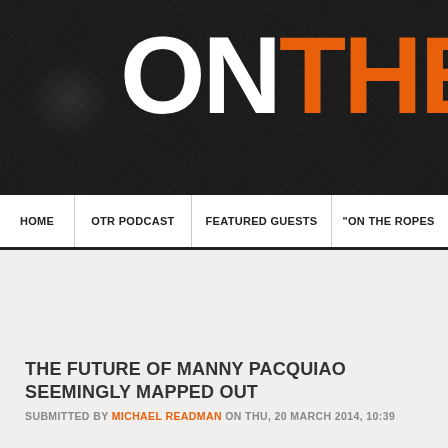[Figure (logo): Website header banner with dark textured background showing logo text 'ON THE' in white and orange bold block letters]
HOME | OTR PODCAST | FEATURED GUESTS | "ON THE ROPES
THE FUTURE OF MANNY PACQUIAO SEEMINGLY MAPPED OUT
SUBMITTED BY MICHAEL READMAN ON THU, 20 MARCH 2014, 10:39